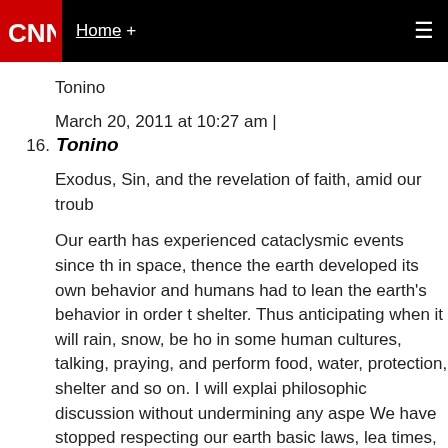Home + [navigation menu]
Tonino
March 20, 2011 at 10:27 am |
16. Tonino
Exodus, Sin, and the revelation of faith, amid our troub
Our earth has experienced cataclysmic events since th in space, thence the earth developed its own behavior and humans had to lean the earth's behavior in order t shelter. Thus anticipating when it will rain, snow, be ho in some human cultures, talking, praying, and perform food, water, protection, shelter and so on. I will explai philosophic discussion without undermining any aspe We have stopped respecting our earth basic laws, lea times, by all creatures and humans on this earth. We h evolution learned how to question, investigate, explore forecast, make alterations, create, defend, destroy and leadership individuals to sin and violate the laws of o